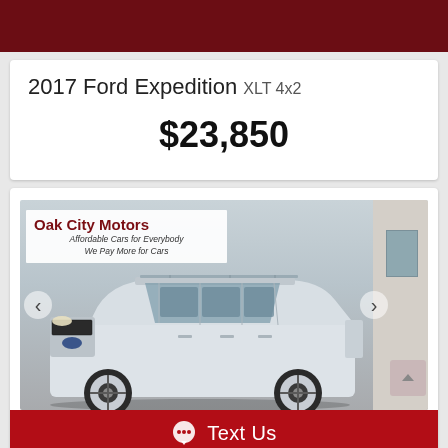2017 Ford Expedition XLT 4x2
$23,850
[Figure (photo): White 2017 Ford Expedition XLT 4x2 SUV parked in front of Oak City Motors dealership. Dealership sign reads: Oak City Motors - Affordable Cars for Everybody - We Pay More for Cars.]
Text Us